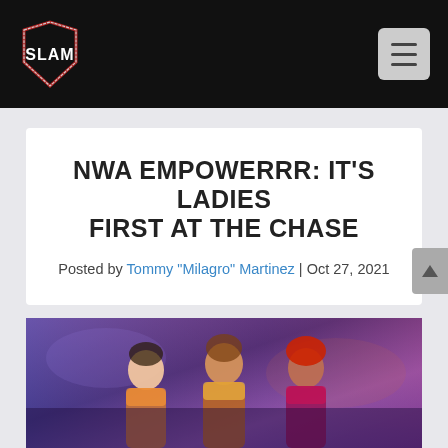SLAM — NWA EMPOWERRR: IT'S LADIES FIRST AT THE CHASE
NWA EMPOWERRR: IT'S LADIES FIRST AT THE CHASE
Posted by Tommy "Milagro" Martinez | Oct 27, 2021
[Figure (photo): Three women wrestlers posing together at NWA EmPowerrr event against a purple/blue background]